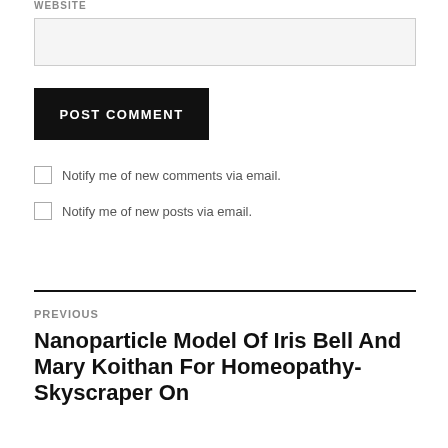WEBSITE
POST COMMENT
Notify me of new comments via email.
Notify me of new posts via email.
PREVIOUS
Nanoparticle Model Of Iris Bell And Mary Koithan For Homeopathy- Skyscraper On